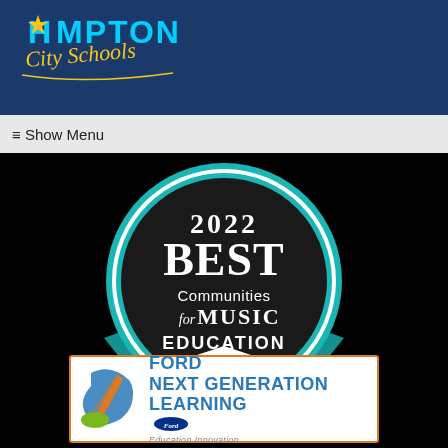[Figure (logo): Hampton City Schools logo with star and script text on blue background]
≡ Show Menu
[Figure (illustration): 2022 Best Communities for Music Education badge - circular black badge with teal ribbon and graduation cap]
[Figure (logo): Ford Next Generation Learning - Education Innovation logo with orange/blue swirl and Ford oval badge]